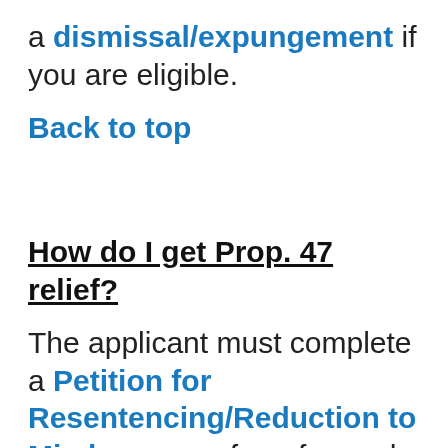a dismissal/expungement if you are eligible.
Back to top
How do I get Prop. 47 relief?
The applicant must complete a Petition for Resentencing/Reduction to Misdemeanor form for each case separately and submit it to the Superior Court where the